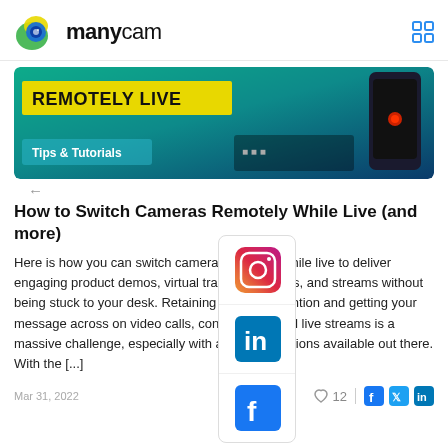manycam
[Figure (screenshot): Banner image showing 'REMOTELY LIVE' in yellow text on teal/dark background with a phone graphic and 'Tips & Tutorials' label]
How to Switch Cameras Remotely While Live (and more)
Here is how you can switch cameras remotely while live to deliver engaging product demos, virtual training sessions, and streams without being stuck to your desk. Retaining viewers' attention and getting your message across on video calls, conferences, and live streams is a massive challenge, especially with all the distractions available out there. With the [...]
Mar 31, 2022    ♡ 12